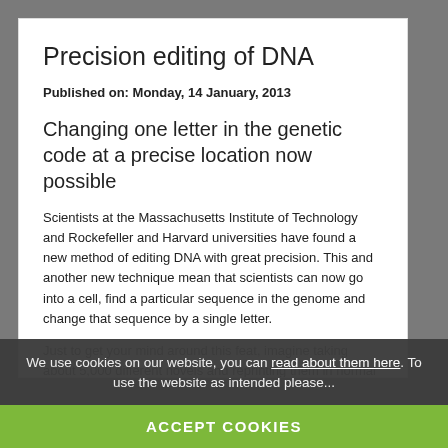Precision editing of DNA
Published on: Monday, 14 January, 2013
Changing one letter in the genetic code at a precise location now possible
Scientists at the Massachusetts Institute of Technology and Rockefeller and Harvard universities have found a new method of editing DNA with great precision. This and another new technique mean that scientists can now go into a cell, find a particular sequence in the genome and change that sequence by a single letter.
Just to get your mind around this feat, imagine taking about 5,000 different novels and reprinting them in normal font size on 23 very long cotton ribbons so much that they only go around the
We use cookies on our website, you can read about them here. To use the website as intended please...
ACCEPT COOKIES